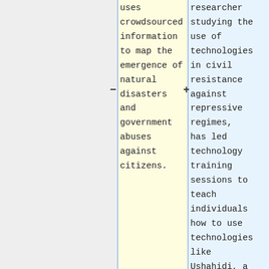uses crowdsourced information to map the emergence of natural disasters and government abuses against citizens.
researcher studying the use of technologies in civil resistance against repressive regimes, has led technology training sessions to teach individuals how to use technologies like Ushahidi, a tool that uses crowdsourced